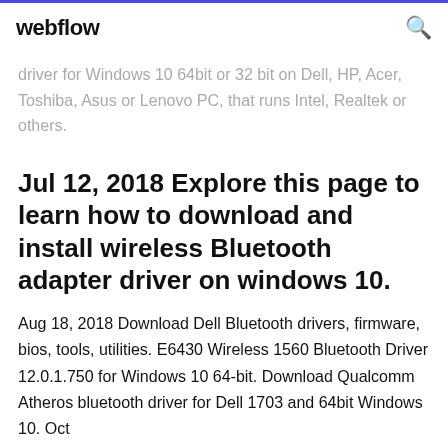webflow
driver for Windows 10 64bit or 32 bit on Dell, HP, Acer, Toshiba, Asus or Lenovo PC, that runs Intel, Realtek or others.
Jul 12, 2018 Explore this page to learn how to download and install wireless Bluetooth adapter driver on windows 10.
Aug 18, 2018 Download Dell Bluetooth drivers, firmware, bios, tools, utilities. E6430 Wireless 1560 Bluetooth Driver 12.0.1.750 for Windows 10 64-bit. Download Qualcomm Atheros bluetooth driver for Dell 1703 and 64bit Windows 10. Oct